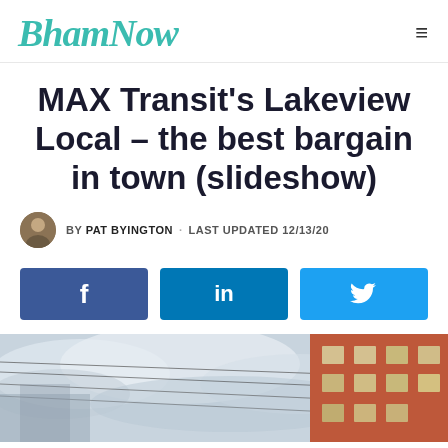Bham Now
MAX Transit's Lakeview Local – the best bargain in town (slideshow)
BY PAT BYINGTON · LAST UPDATED 12/13/20
[Figure (other): Social share buttons: Facebook, LinkedIn, Twitter]
[Figure (photo): Outdoor photo showing cloudy sky with power lines and brick building on the right side]